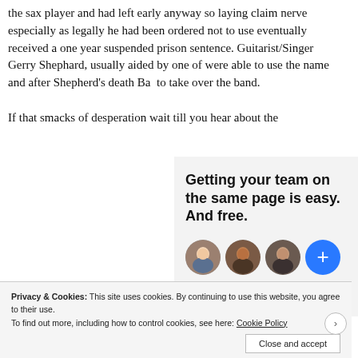the sax player and had left early anyway so laying claim nerve especially as legally he had been ordered not to use eventually received a one year suspended prison sentence. Guitarist/Singer Gerry Shephard, usually aided by one of were able to use the name and after Shepherd's death Ba to take over the band.
If that smacks of desperation wait till you hear about the
[Figure (infographic): Advertisement or promotional box with bold text reading 'Getting your team on the same page is easy. And free.' with three circular avatar photos and a blue plus button.]
Privacy & Cookies: This site uses cookies. By continuing to use this website, you agree to their use. To find out more, including how to control cookies, see here: Cookie Policy
Close and accept